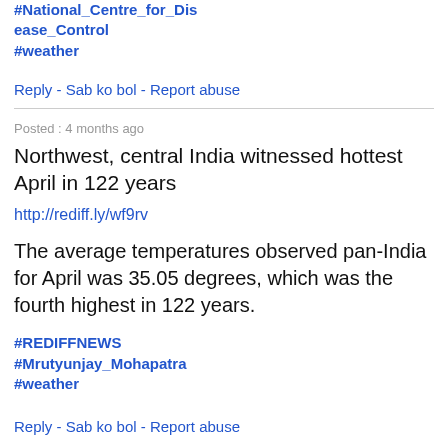#National_Centre_for_Disease_Control
#weather
Reply - Sab ko bol - Report abuse
Posted : 4 months ago
Northwest, central India witnessed hottest April in 122 years
http://rediff.ly/wf9rv
The average temperatures observed pan-India for April was 35.05 degrees, which was the fourth highest in 122 years.
#REDIFFNEWS
#Mrutyunjay_Mohapatra
#weather
Reply - Sab ko bol - Report abuse